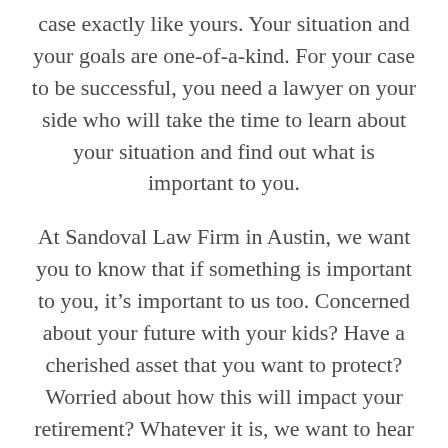case exactly like yours. Your situation and your goals are one-of-a-kind. For your case to be successful, you need a lawyer on your side who will take the time to learn about your situation and find out what is important to you.
At Sandoval Law Firm in Austin, we want you to know that if something is important to you, it's important to us too. Concerned about your future with your kids? Have a cherished asset that you want to protect? Worried about how this will impact your retirement? Whatever it is, we want to hear about it. We do not build one-size-fits-all legal strategies in divorce, child